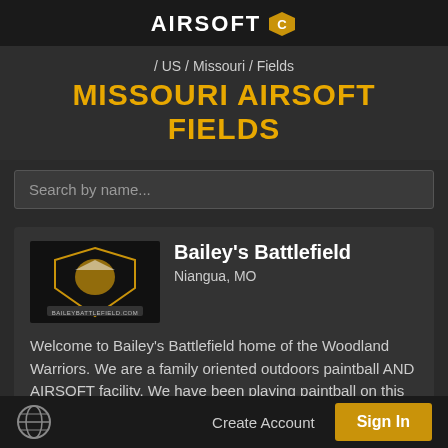AIRSOFT
/ US / Missouri / Fields
MISSOURI AIRSOFT FIELDS
Search by name...
Bailey's Battlefield
Niangua, MO
Welcome to Bailey's Battlefield home of the Woodland Warriors. We are a family oriented outdoors paintball AND AIRSOFT facility. We have been playing paintball on this site since 1985 and work very ... Read More
Create Account
Sign In